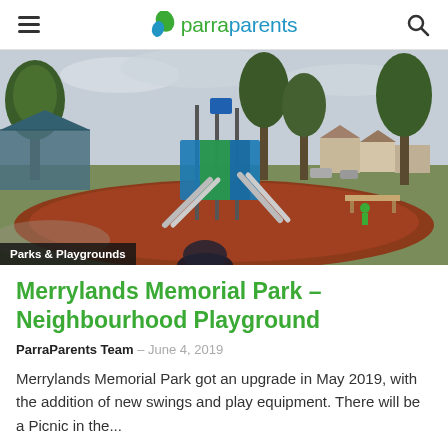parraparents
[Figure (photo): Outdoor playground at Merrylands Memorial Park showing slides, play equipment, and red wood chip ground cover surrounded by trees and grass, with residential buildings in the background under an overcast sky.]
Parks & Playgrounds
Merrylands Memorial Park – Neighbourhood Playground
ParraParents Team – June 4, 2019
Merrylands Memorial Park got an upgrade in May 2019, with the addition of new swings and play equipment. There will be a Picnic in the...